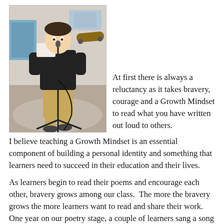[Figure (photo): A child standing at a microphone stand holding papers, wearing a black jacket and tan pants, in an indoor setting.]
At first there is always a reluctancy as it takes bravery, courage and a Growth Mindset to read what you have written out loud to others.  I believe teaching a Growth Mindset is an essential component of building a personal identity and something that learners need to succeed in their education and their lives.
As learners begin to read their poems and encourage each other, bravery grows among our class.  The more the bravery grows the more learners want to read and share their work.  One year on our poetry stage, a couple of learners sang a song they had written, this year Jaiden said good-bye to his Grandfather who passed away and during the fall...